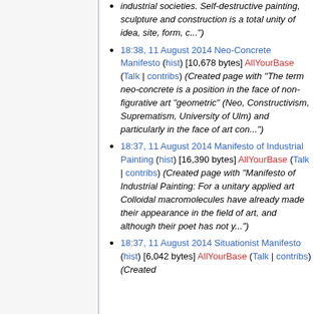industrial societies. Self-destructive painting, sculpture and construction is a total unity of idea, site, form, c...")
18:38, 11 August 2014 Neo-Concrete Manifesto (hist) [10,678 bytes] AllYourBase (Talk | contribs) (Created page with "The term neo-concrete is a position in the face of non-figurative art "geometric" (Neo, Constructivism, Suprematism, University of Ulm) and particularly in the face of art con...")
18:37, 11 August 2014 Manifesto of Industrial Painting (hist) [16,390 bytes] AllYourBase (Talk | contribs) (Created page with "Manifesto of Industrial Painting: For a unitary applied art Colloidal macromolecules have already made their appearance in the field of art, and although their poet has not y...")
18:37, 11 August 2014 Situationist Manifesto (hist) [6,042 bytes] AllYourBase (Talk | contribs) (Created